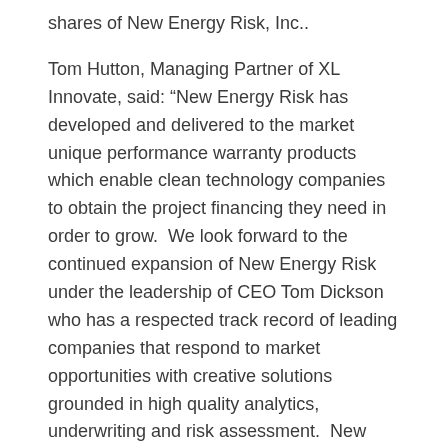shares of New Energy Risk, Inc..
Tom Hutton, Managing Partner of XL Innovate, said: “New Energy Risk has developed and delivered to the market unique performance warranty products which enable clean technology companies to obtain the project financing they need in order to grow.  We look forward to the continued expansion of New Energy Risk under the leadership of CEO Tom Dickson who has a respected track record of leading companies that respond to market opportunities with creative solutions grounded in high quality analytics, underwriting and risk assessment.  New Energy Risk is a great example of the kinds of businesses XL Innovate looks to grow. It develops and applies innovative insurance solutions based on engineering